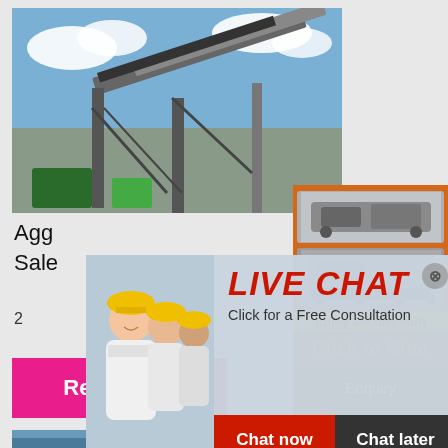[Figure (photo): Industrial conveyor/crusher machinery against blue sky with clouds]
Agg
Sale
2
[Figure (photo): Live Chat overlay popup with workers in yellow hard hats]
Chat now
Chat later
[Figure (photo): Orange sidebar showing crusher/mining machines]
Enjoy 3% discount
Click to Chat
Enquiry
limingjlmofen@sina.com
[Figure (photo): Read More button - pink/magenta]
[Figure (photo): Bottom industrial machinery photo with blue sky]
used